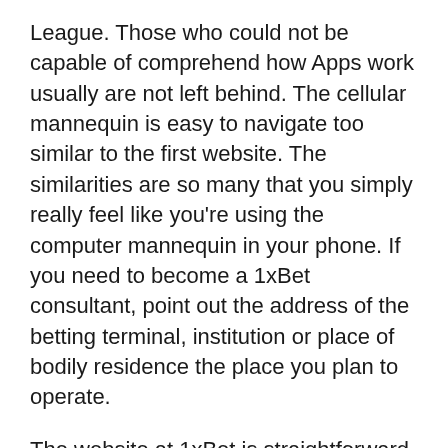League. Those who could not be capable of comprehend how Apps work usually are not left behind. The cellular mannequin is easy to navigate too similar to the first website. The similarities are so many that you simply really feel like you're using the computer mannequin in your phone. If you need to become a 1xBet consultant, point out the address of the betting terminal, institution or place of bodily residence the place you plan to operate.
The website at 1xBet is straightforward to navigate and even when you're new to on-line betting, you will have no issues finding a sport and inserting a guess. You can wager on over 20 sports activities at 1xBet.com, and this sportsbook has excellent market depth for the majority of sports on supply. SlotsPalace is a colourful gaming site, which is a serious advantage it has over 1xBet. While a welcome package of £1,000 just isn't higher than £1,500 you get on 1xBet, the phrases and situations of bonuses on SlotsPalace are friendlier. Moreover, SlotsPalace enjoys an intensive partnership with tens of gaming software program providers, which makes the site excellent